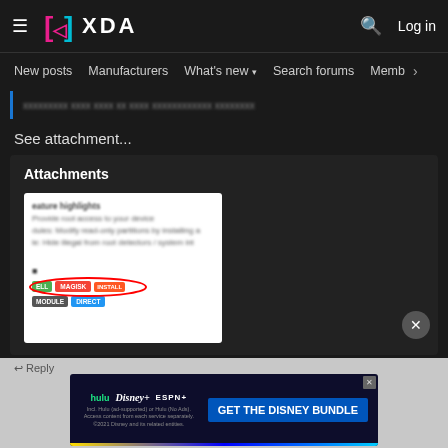XDA Developers navigation bar with logo, search and Log in
New posts  Manufacturers  What's new  Search forums  Members  >
See attachment...
Attachments
[Figure (screenshot): Blurred screenshot of a mobile app showing feature highlights including root access, modify read-only partitions, hide illegal from root detectors/system, with colored action buttons circled in red]
[Figure (screenshot): Advertisement banner: GET THE DISNEY BUNDLE - hulu, Disney+, ESPN+. Incl. Hulu (ad-supported) or Hulu (No Ads). Access content from each service separately. ©2021 Disney and its related entities.]